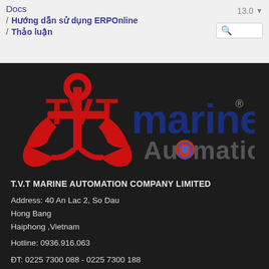Docs  13.0
/ Hướng dẫn sử dụng ERPOnline
/ Thảo luận
[Figure (logo): TVT Marine Automation company logo: red anchor with TVT letters and 'marine Automation' text in red and blue on dark background]
T.V.T MARINE AUTOMATION COMPANY LIMITED
Address: 40 An Lac 2, So Dau
Hong Bang
Haiphong ,Vietnam
Hotline: 0936.916.063
ĐT: 0225 7300 088 - 0225 7300 188
Email: info@tvtmarine.com